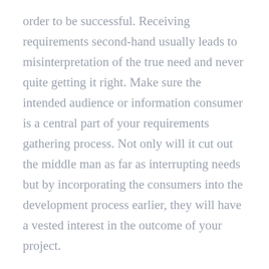order to be successful. Receiving requirements second-hand usually leads to misinterpretation of the true need and never quite getting it right. Make sure the intended audience or information consumer is a central part of your requirements gathering process. Not only will it cut out the middle man as far as interrupting needs but by incorporating the consumers into the development process earlier, they will have a vested interest in the outcome of your project.
Wishing you the best of luck in your future requirements endeavors and don't forget to ask yourself: